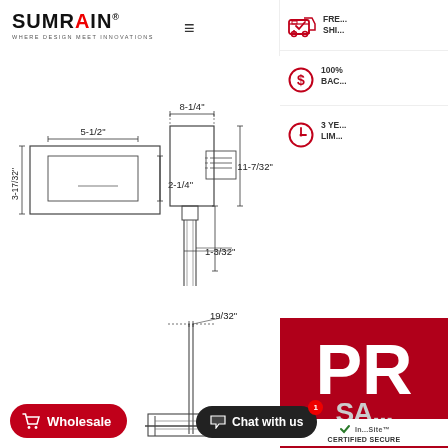SUMRAIN® WHERE DESIGN MEET INNOVATIONS
[Figure (engineering-diagram): Technical drawing of a faucet/fixture showing front view and side view with dimensions: 5-1/2", 8-1/4", 11-7/32", 3-17/32", 2-1/4", 1-3/32", and a lower section showing 19/32" pipe diameter dimensions]
FREE SHIPPING
100% MONEY BACK
3 YEAR LIMITED
Wholesale
Chat with us